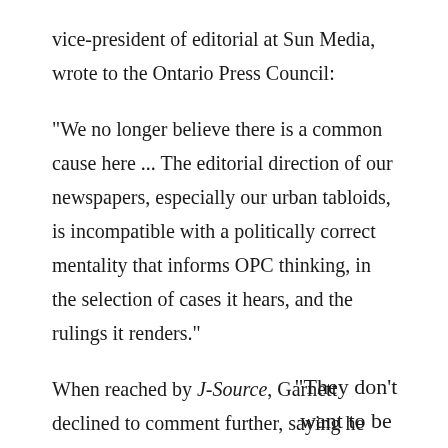vice-president of editorial at Sun Media, wrote to the Ontario Press Council:
"We no longer believe there is a common cause here ... The editorial direction of our newspapers, especially our urban tabloids, is incompatible with a politically correct mentality that informs OPC thinking, in the selection of cases it hears, and the rulings it renders."
When reached by J-Source, Garnett declined to comment further, saying he preferred to let the letter excerpt stand for itself.
"They don't want to be